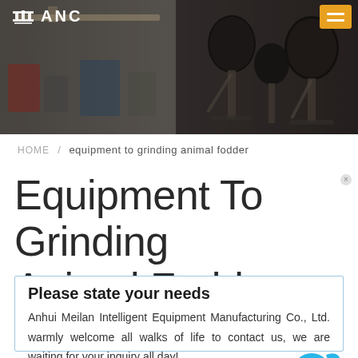[Figure (photo): Website header banner showing an industrial factory floor on the left and microphone stands on the right, with the ANC logo and a hamburger menu button]
HOME / equipment to grinding animal fodder
Equipment To Grinding Animal Fodder
Please state your needs

Anhui Meilan Intelligent Equipment Manufacturing Co., Ltd. warmly welcome all walks of life to contact us, we are waiting for your inquiry all day!